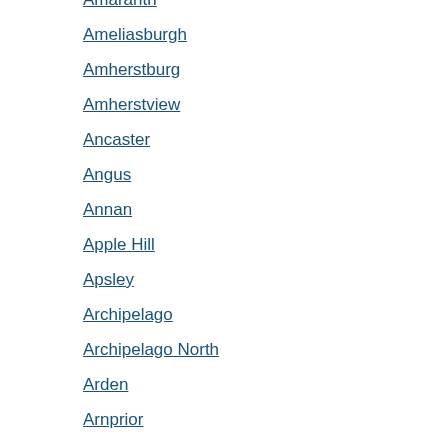Amaranth
Ameliasburgh
Amherstburg
Amherstview
Ancaster
Angus
Annan
Apple Hill
Apsley
Archipelago
Archipelago North
Arden
Arnprior
Arran-Elderslie
Ashfield-Colborne-Wawanosh